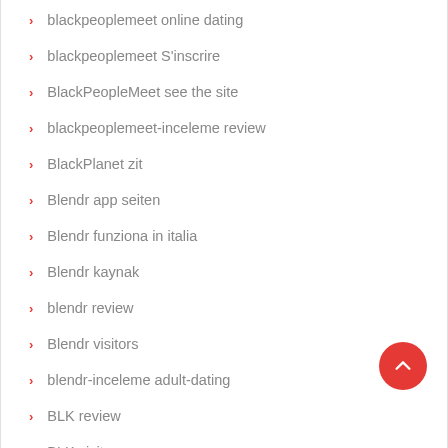blackpeoplemeet online dating
blackpeoplemeet S'inscrire
BlackPeopleMeet see the site
blackpeoplemeet-inceleme review
BlackPlanet zit
Blendr app seiten
Blendr funziona in italia
Blendr kaynak
blendr review
Blendr visitors
blendr-inceleme adult-dating
BLK review
BLK visitors
blog
blue payday loans
Blued elite rencontre